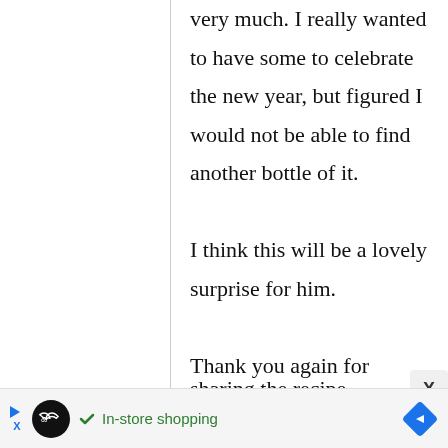very much. I really wanted to have some to celebrate the new year, but figured I would not be able to find another bottle of it.

I think this will be a lovely surprise for him.

Thank you again for sharing the recipe
[Figure (screenshot): Ad bar at bottom showing in-store shopping advertisement with infinity logo, play/close controls, checkmark and text 'In-store shopping', and a blue diamond navigation arrow]